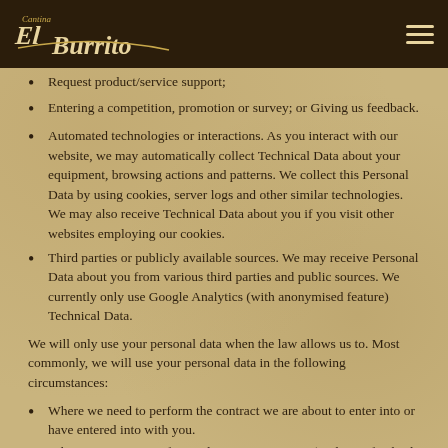Cantina El Burrito logo and navigation menu
Request product/service support;
Entering a competition, promotion or survey; or Giving us feedback.
Automated technologies or interactions. As you interact with our website, we may automatically collect Technical Data about your equipment, browsing actions and patterns. We collect this Personal Data by using cookies, server logs and other similar technologies. We may also receive Technical Data about you if you visit other websites employing our cookies.
Third parties or publicly available sources. We may receive Personal Data about you from various third parties and public sources. We currently only use Google Analytics (with anonymised feature) Technical Data.
We will only use your personal data when the law allows us to. Most commonly, we will use your personal data in the following circumstances:
Where we need to perform the contract we are about to enter into or have entered into with you.
Where it is necessary for our legitimate interests (or those of a third party)...